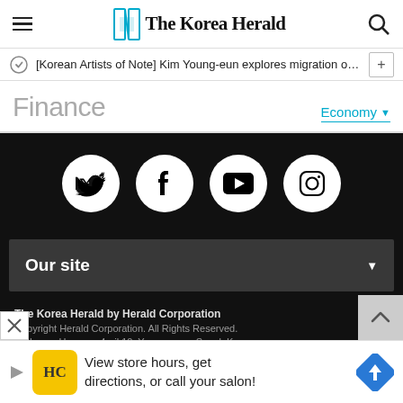The Korea Herald
[Korean Artists of Note] Kim Young-eun explores migration of sou···
Finance
Economy
[Figure (logo): Social media icons: Twitter, Facebook, YouTube, Instagram in white circles on black background]
Our site
The Korea Herald by Herald Corporation
Copyright Herald Corporation. All Rights Reserved.
Address : Huam-ro 4-gil 10, Yongsan-gu, Seoul, Korea
Online newspaper registration No.: Seoul 아03711
Date of registration : 2015.04.28
Publisher, Editor : Jeon Chang-hyeop
Juvenile Protection Manager: Ahn Sung-mi
[Figure (infographic): Advertisement bar: View store hours, get directions, or call your salon!]